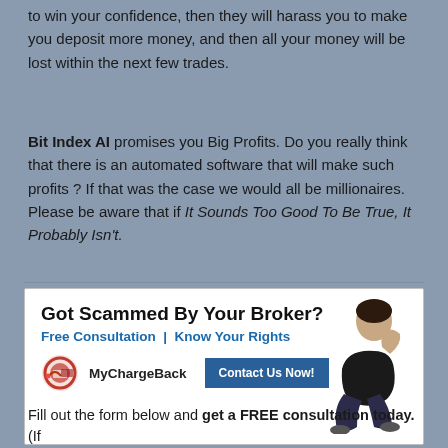to win your confidence, then they will harass you to make you deposit more money, and then all your money will be lost within the next few trades.
Bit Index AI promises you Big Profits. Do you really think that there is an automated software that will make such profits ? If that was the case we would all be millionaires. Please be aware that if It Sounds Too Good To Be True, It Probably Isn't.
[Figure (illustration): Advertisement banner for MyChargeBack service. Title: Got Scammed By Your Broker? Free Consultation | Know Your Rights. MyChargeBack logo with Contact Us Now button. Image of a person sitting with head in hands.]
High Success Rate – Transparency & Integrity –
Fill out the form below and get a FREE consultation today. (If